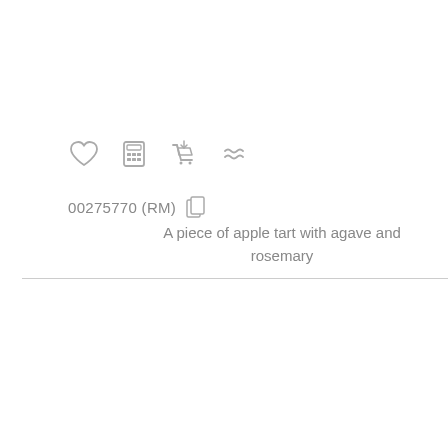[Figure (other): Row of four icons: heart (favorite), calculator (compute), shopping cart (add to cart), and approximately-equal/wavy lines (similar)]
00275770 (RM)
A piece of apple tart with agave and rosemary